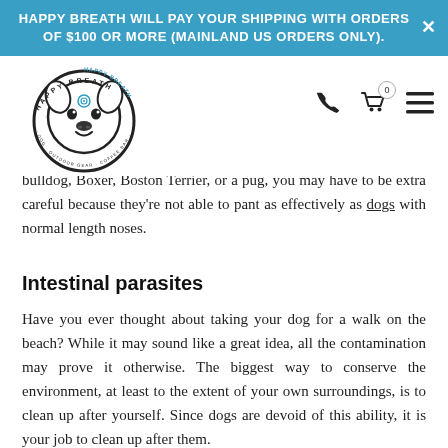HAPPY BREATH WILL PAY YOUR SHIPPING WITH ORDERS OF $100 OR MORE (MAINLAND US ORDERS ONLY).
[Figure (logo): Happy Breath logo — circular dog face with text 'HAPPY BREATH · DOG · OUTDOOR GEAR · COFFEE BAR']
bulldog, Boxer, Boston Terrier, or a pug, you may have to be extra careful because they're not able to pant as effectively as dogs with normal length noses.
Intestinal parasites
Have you ever thought about taking your dog for a walk on the beach? While it may sound like a great idea, all the contamination may prove it otherwise. The biggest way to conserve the environment, at least to the extent of your own surroundings, is to clean up after yourself. Since dogs are devoid of this ability, it is your job to clean up after them.
The reason dogs can quickly get infected with intestinal parasites